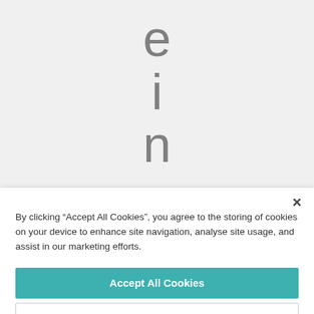[Figure (screenshot): Vertical text spelling letters e, i, n, g, c on a light grey background, appearing as part of a word being shown vertically on a webpage.]
×
By clicking “Accept All Cookies”, you agree to the storing of cookies on your device to enhance site navigation, analyse site usage, and assist in our marketing efforts.
Accept All Cookies
Cookies Settings